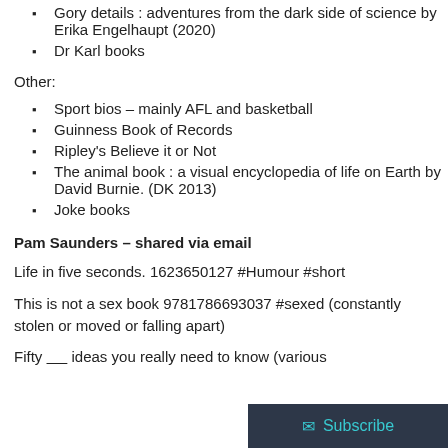Gory details : adventures from the dark side of science by Erika Engelhaupt (2020)
Dr Karl books
Other:
Sport bios – mainly AFL and basketball
Guinness Book of Records
Ripley's Believe it or Not
The animal book : a visual encyclopedia of life on Earth by David Burnie. (DK 2013)
Joke books
Pam Saunders – shared via email
Life in five seconds. 1623650127 #Humour #short
This is not a sex book 9781786693037 #sexed (constantly stolen or moved or falling apart)
Fifty _____ ideas you really need to know (various